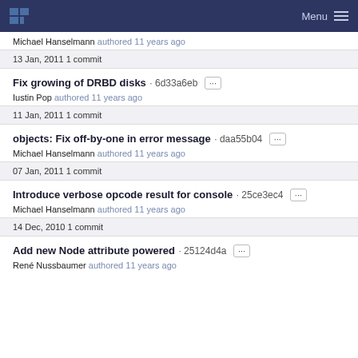Menu
Michael Hanselmann authored 11 years ago
13 Jan, 2011 1 commit
Fix growing of DRBD disks · 6d33a6eb
Iustin Pop authored 11 years ago
11 Jan, 2011 1 commit
objects: Fix off-by-one in error message · daa55b04
Michael Hanselmann authored 11 years ago
07 Jan, 2011 1 commit
Introduce verbose opcode result for console · 25ce3ec4
Michael Hanselmann authored 11 years ago
14 Dec, 2010 1 commit
Add new Node attribute powered · 25124d4a
René Nussbaumer authored 11 years ago